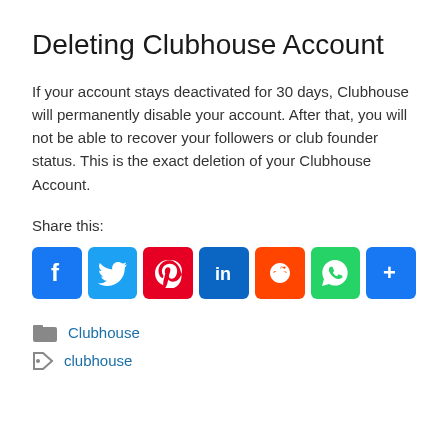Deleting Clubhouse Account
If your account stays deactivated for 30 days, Clubhouse will permanently disable your account. After that, you will not be able to recover your followers or club founder status. This is the exact deletion of your Clubhouse Account.
Share this:
[Figure (infographic): Row of social share buttons: Facebook (blue), Twitter (light blue), Pinterest (red), LinkedIn (dark blue), Reddit (orange-red), WhatsApp (green), More/Share (blue)]
Clubhouse
clubhouse